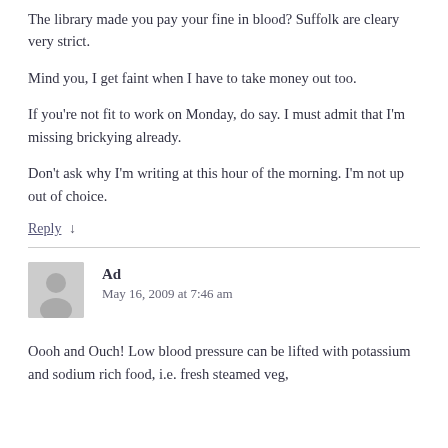The library made you pay your fine in blood? Suffolk are cleary very strict.
Mind you, I get faint when I have to take money out too.
If you're not fit to work on Monday, do say. I must admit that I'm missing brickying already.
Don't ask why I'm writing at this hour of the morning. I'm not up out of choice.
Reply ↓
Ad
May 16, 2009 at 7:46 am
Oooh and Ouch! Low blood pressure can be lifted with potassium and sodium rich food, i.e. fresh steamed veg,